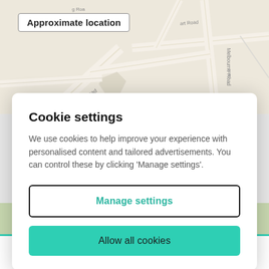[Figure (screenshot): Map background showing streets including Avenue Road, Melbourne Road, and other roads in a beige/tan color scheme with a label box reading 'Approximate location']
Cookie settings
We use cookies to help improve your experience with personalised content and tailored advertisements. You can control these by clicking 'Manage settings'.
Manage settings
Allow all cookies
Stations   Schools